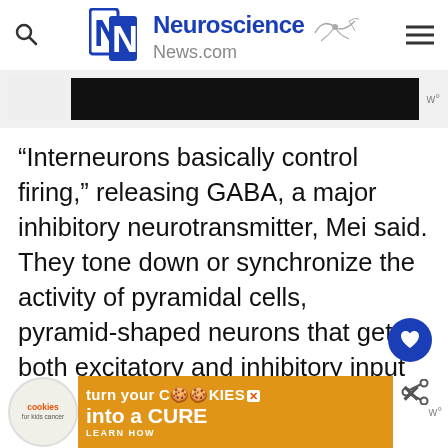Neuroscience News.com
[Figure (screenshot): Black advertisement banner with weather icon on right]
“Interneurons basically control firing,” releasing GABA, a major inhibitory neurotransmitter, Mei said. They tone down or synchronize the activity of pyramidal cells, pyramid-shaped neurons that get both excitatory and inhibitory input then make the call on what action to take
When scientists ablated the erbin gene in mice or kept erbin from interacting with TARP
[Figure (screenshot): Cookies for Kids Cancer advertisement banner - turn your cookies into a CURE]